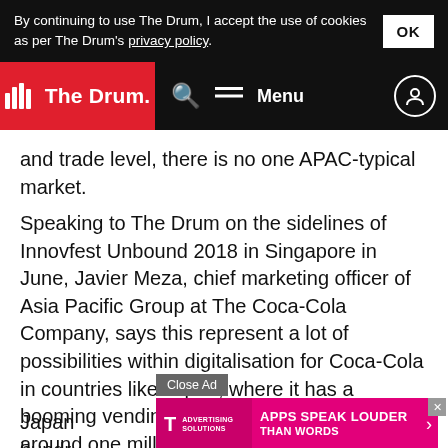By continuing to use The Drum, I accept the use of cookies as per The Drum's privacy policy.
[Figure (logo): The Drum logo in white text on red background with navigation bar]
and trade level, there is no one APAC-typical market.
Speaking to The Drum on the sidelines of Innovfest Unbound 2018 in Singapore in June, Javier Meza, chief marketing officer of Asia Pacific Group at The Coca-Cola Company, says this represent a lot of possibilities within digitalisation for Coca-Cola in countries like Japan, where it has a booming vending machine business, owning around one million vending machines.
[Figure (screenshot): T-Mobile Advertising Solutions ad: APPS SPEAK LOUDER THAN WORDS with Close Ad button]
Japan does hundr t